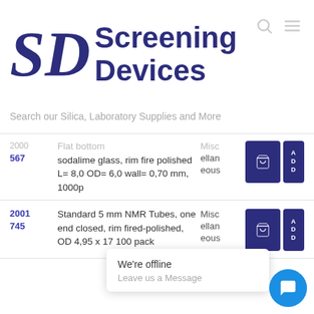[Figure (logo): SD Screening Devices logo with stylized SD letters and company name]
Search our Silica, Laboratory Supplies and More
| ID | Description | Category | Actions |
| --- | --- | --- | --- |
| 2000 567 | Flat bottom sodalime glass, rim fire polished L= 8,0 OD= 6,0 wall= 0,70 mm, 1000p | Miscellaneous | Cart / ADD |
| 2001 745 | Standard 5 mm NMR Tubes, one end closed, rim fired-polished, OD 4,95 x 17 100 pack | Miscellaneous | Cart / ADD |
We're offline
Leave us a Message